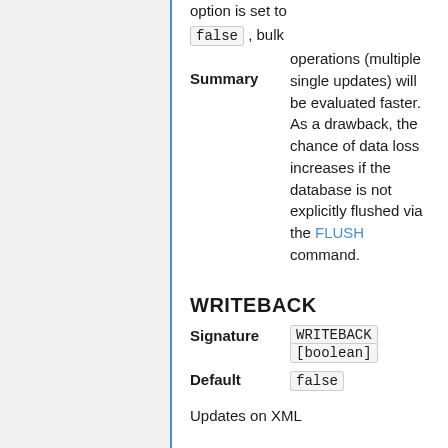option is set to false, bulk operations (multiple single updates) will be evaluated faster. As a drawback, the chance of data loss increases if the database is not explicitly flushed via the FLUSH command.
WRITEBACK
Signature: WRITEBACK [boolean]
Default: false
Updates on XML